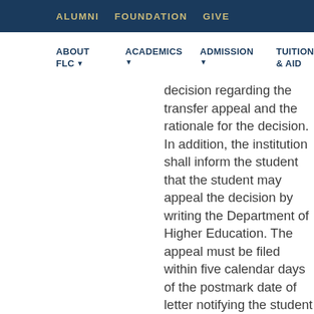ALUMNI  FOUNDATION  GIVE
ABOUT FLC   ACADEMICS   ADMISSION   TUITION & AID
decision regarding the transfer appeal and the rationale for the decision. In addition, the institution shall inform the student that the student may appeal the decision by writing the Department of Higher Education. The appeal must be filed within five calendar days of the postmark date of letter notifying the student of the governing board's decision